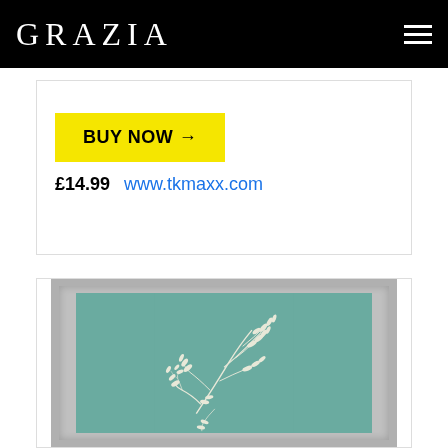GRAZIA
BUY NOW →
£14.99   www.tkmaxx.com
[Figure (photo): Framed botanical art print with white leaf/fern silhouettes on a teal/sage green background, in a silver frame]